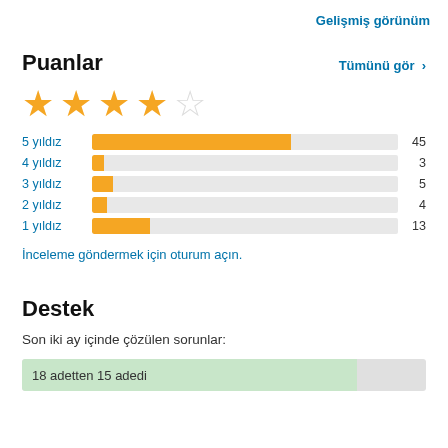Gelişmiş görünüm
Puanlar
Tümünü gör >
[Figure (other): 4 out of 5 stars rating display]
[Figure (bar-chart): Rating distribution]
İnceleme göndermek için oturum açın.
Destek
Son iki ay içinde çözülen sorunlar:
18 adetten 15 adedi